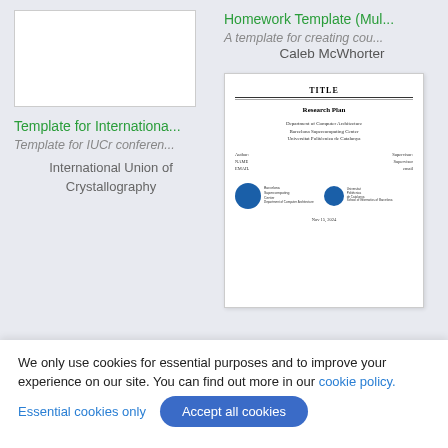[Figure (screenshot): White thumbnail preview of a document (IUCr template)]
Template for Internationa...
Template for IUCr conferen...
International Union of Crystallography
Homework Template (Mul...
A template for creating cou...
Caleb McWhorter
[Figure (screenshot): Preview of a research plan document with TITLE heading, Research Plan subtitle, Department of Computer Architecture, Barcelona Supercomputing Center, Universitat Politècnica de Catalunya, author/supervisor fields, logos, and date.]
We only use cookies for essential purposes and to improve your experience on our site. You can find out more in our cookie policy.
Essential cookies only
Accept all cookies